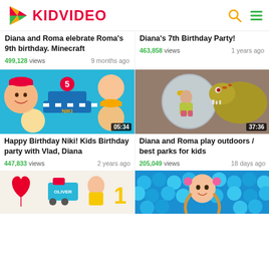KIDVIDEO
Diana and Roma elebrate Roma's 9th birthday. Minecraft
499,128 views  9 months ago
Diana's 7th Birthday Party!
463,858 views  1 years ago
[Figure (photo): Happy Birthday Niki kids birthday party thumbnail showing children's faces around a 5-tier cake with Hot Wheels design reading NIKI, duration 05:34]
[Figure (photo): Diana and Roma play outdoors thumbnail showing girl in yellow cap near a dinosaur figure, duration 37:36]
Happy Birthday Niki! Kids Birthday party with Vlad, Diana
447,833 views  2 years ago
Diana and Roma play outdoors / best parks for kids
205,049 views  18 days ago
[Figure (photo): Partial thumbnail showing a child with heart balloons and a number 1 balloon at a birthday party]
[Figure (photo): Partial thumbnail showing a girl with pink braids in a ball pit filled with blue balls]